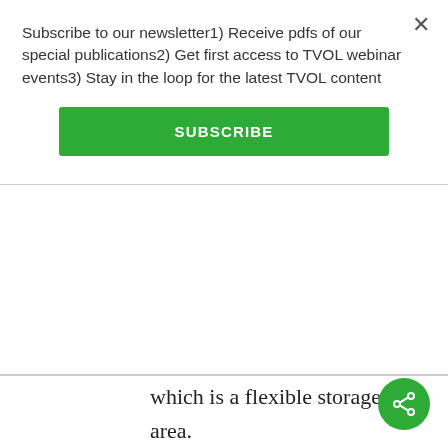Subscribe to our newsletter1) Receive pdfs of our special publications2) Get first access to TVOL webinar events3) Stay in the loop for the latest TVOL content
SUBSCRIBE
which is a flexible storage area.
I've not been in a commercial foie gras factory in eastern europe or elsewhere, so I don't know about conditions